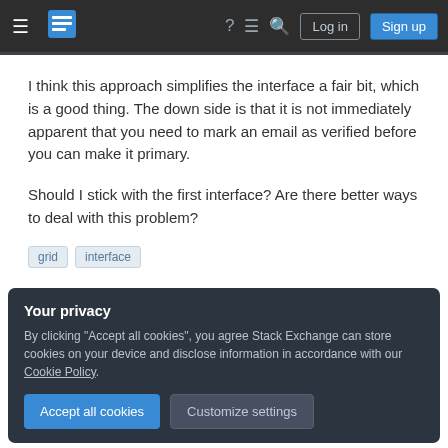Stack Exchange navigation bar with hamburger menu, logo, help, chat, search icons, Log in and Sign up buttons
I think this approach simplifies the interface a fair bit, which is a good thing. The down side is that it is not immediately apparent that you need to mark an email as verified before you can make it primary.
Should I stick with the first interface? Are there better ways to deal with this problem?
grid
interface
Your privacy
By clicking "Accept all cookies", you agree Stack Exchange can store cookies on your device and disclose information in accordance with our Cookie Policy.
Accept all cookies | Customize settings
– Danny Varod Jun 23, 2012 at 21:03